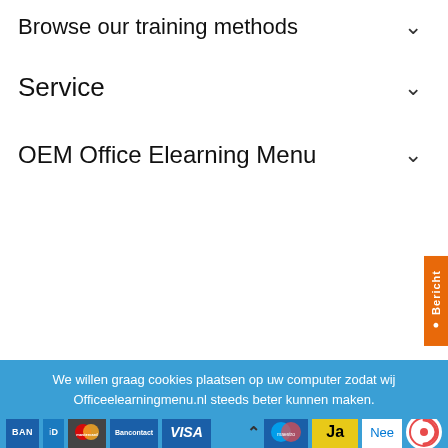Browse our training methods
Service
OEM Office Elearning Menu
OEM Office Elearning Menu © 2022 - Powered by Lightspeed - Theme by eCommerce Pro
[Figure (logo): Logos row: Springest, Microsoft Partner, EC-Council, Certiport]
We willen graag cookies plaatsen op uw computer zodat wij Officeelearningmenu.nl steeds beter kunnen maken.
[Figure (screenshot): Payment method badges: BANK, iDEAL, Mastercard, Bancontact, VISA, Maestro, and buttons Ja/Nee, review logo 8.0, INFORMATIE button]